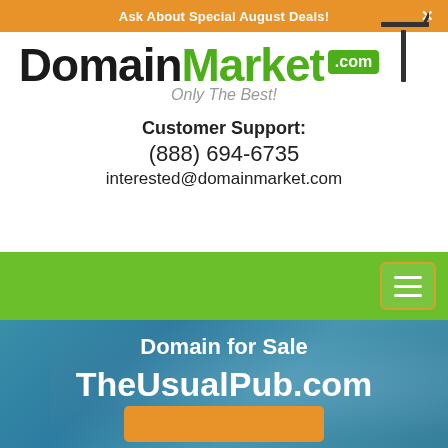Ask About Special August Deals!
[Figure (logo): DomainMarket.com logo with sign post graphic and tagline 'Only The Best!']
Customer Support:
(888) 694-6735
interested@domainmarket.com
[Figure (other): Green navigation bar with hamburger menu button]
Domain for Sale
TheUsualPub.com
$2,888 USD